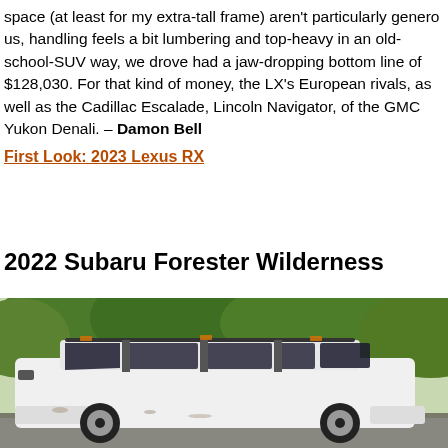space (at least for my extra-tall frame) aren't particularly generous, handling feels a bit lumbering and top-heavy in an old-school-SUV way, we drove had a jaw-dropping bottom line of $128,030. For that kind of money, the LX's European rivals, as well as the Cadillac Escalade, Lincoln Navigator, of the GMC Yukon Denali. – Damon Bell
First Look: 2023 Lexus RX
2022 Subaru Forester Wilderness
[Figure (photo): White 2022 Subaru Forester Wilderness SUV parked outdoors with green trees in background]